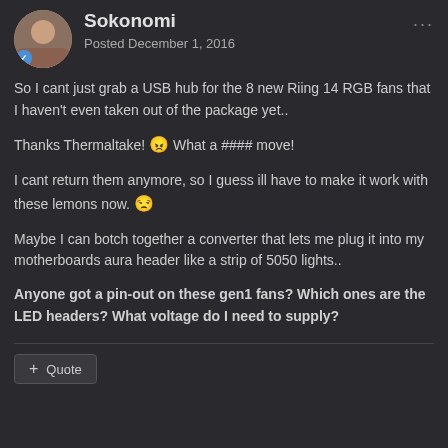Sokonomi — Posted December 1, 2016
So I cant just grab a USB hub for the 8 new Riing 14 RGB fans that I haven't even taken out of the package yet..
Thanks Thermaltake! 😠 What a #### move!
I cant return them anymore, so I guess ill have to make it work with these lemons now. 😒
Maybe I can botch together a converter that lets me plug it into my motherboards aura header like a strip of 5050 lights..
Anyone got a pin-out on these gen1 fans? Which ones are the LED headers? What voltage do I need to supply?
+ Quote